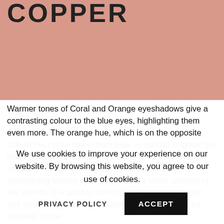[Figure (photo): Coral/salmon colored swatch background with partial bold text heading partially visible at top reading 'COPPER' or similar, cropped at top of page]
Warmer tones of Coral and Orange eyeshadows give a contrasting colour to the blue eyes, highlighting them even more. The orange hue, which is on the opposite side of the colour wheel from blue, is used to brighten the blue eyes. For an outdoor look, blend Coral or Orange shades of eyeshadow on the eyelids paired with a shimmering bronze eyeshadow on the lower creases of the eyelids. It is good to stick to a solid shade of coral and orange eyeshadow, but bolder colours should be avoided. Some
We use cookies to improve your experience on our website. By browsing this website, you agree to our use of cookies.
PRIVACY POLICY    ACCEPT